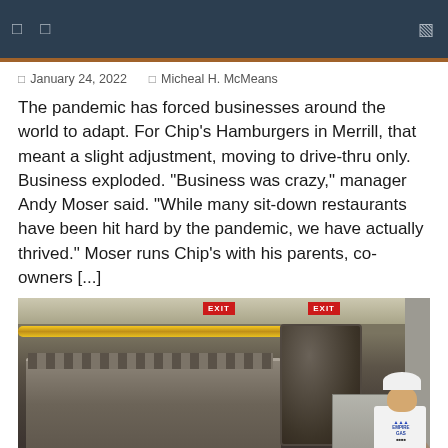Navigation bar with icons and search
January 24, 2022   Micheal H. McMeans
The pandemic has forced businesses around the world to adapt. For Chip's Hamburgers in Merrill, that meant a slight adjustment, moving to drive-thru only. Business exploded. “Business was crazy,” manager Andy Moser said. “While many sit-down restaurants have been hit hard by the pandemic, we have actually thrived.” Moser runs Chip’s with his parents, co-owners [...]
[Figure (photo): Industrial engine room with large diesel or gas engine, yellow overhead pipe, EXIT signs, control box, and a worker in a white Empire Gas shirt and hard hat standing to the right]